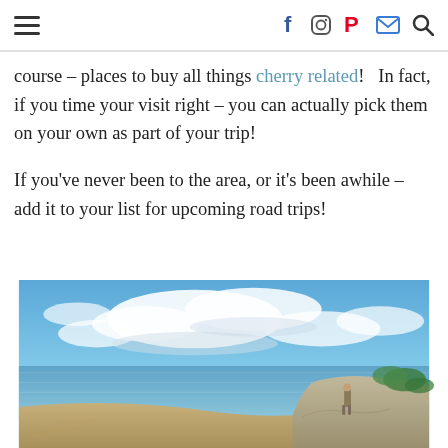Navigation header with hamburger menu and social icons (Facebook, Instagram, Pinterest, Email, Search)
course – places to buy all things cherry related!   In fact, if you time your visit right – you can actually pick them on your own as part of your trip!
If you've never been to the area, or it's been awhile – add it to your list for upcoming road trips!
[Figure (photo): A person standing on a rock at a lakeside shoreline with sandy beach and dramatic cloudy blue sky overhead, surrounded by greenery]